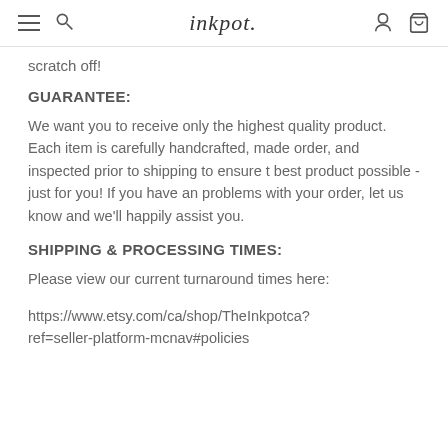inkpot.
scratch off!
GUARANTEE:
We want you to receive only the highest quality product. Each item is carefully handcrafted, made order, and inspected prior to shipping to ensure t best product possible - just for you! If you have an problems with your order, let us know and we'll happily assist you.
SHIPPING & PROCESSING TIMES:
Please view our current turnaround times here:
https://www.etsy.com/ca/shop/TheInkpotca?ref=seller-platform-mcnav#policies